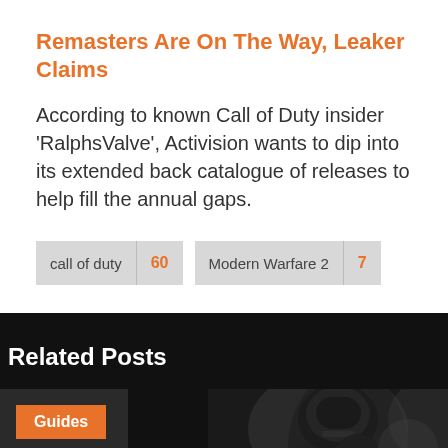Remasters Are On The Way, Leaker Claims
According to known Call of Duty insider ‘RalphsValve’, Activision wants to dip into its extended back catalogue of releases to help fill the annual gaps.
call of duty 60
Modern Warfare 2 7
Related Posts
[Figure (photo): Dark background image showing a soldier in tactical gear and helmet, partially visible at bottom of page. Orange 'Guides' badge overlaid in top-left corner.]